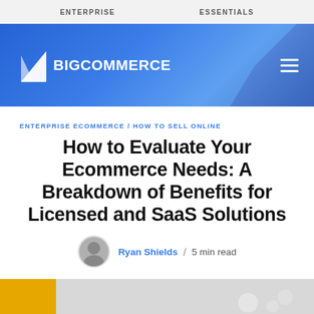ENTERPRISE   ESSENTIALS
[Figure (logo): BigCommerce logo in white on blue gradient header background with hamburger menu icon]
ENTERPRISE ECOMMERCE / HOW TO SELL ONLINE
How to Evaluate Your Ecommerce Needs: A Breakdown of Benefits for Licensed and SaaS Solutions
Ryan Shields / 5 min read
[Figure (photo): Bottom portion of a hero image showing a gold/yellow bar on the left and grey background with bokeh light effects on the right]